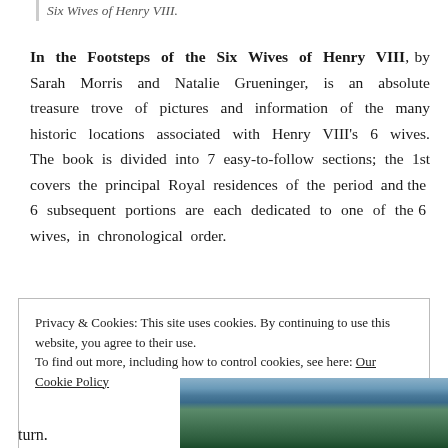Six Wives of Henry VIII.
In the Footsteps of the Six Wives of Henry VIII, by Sarah Morris and Natalie Grueninger, is an absolute treasure trove of pictures and information of the many historic locations associated with Henry VIII's 6 wives. The book is divided into 7 easy-to-follow sections; the 1st covers the principal Royal residences of the period and the 6 subsequent portions are each dedicated to one of the 6 wives, in chronological order.
Privacy & Cookies: This site uses cookies. By continuing to use this website, you agree to their use. To find out more, including how to control cookies, see here: Our Cookie Policy
Close and accept
turn.
[Figure (photo): Photograph of green fields or countryside, visible at the bottom right of the page.]